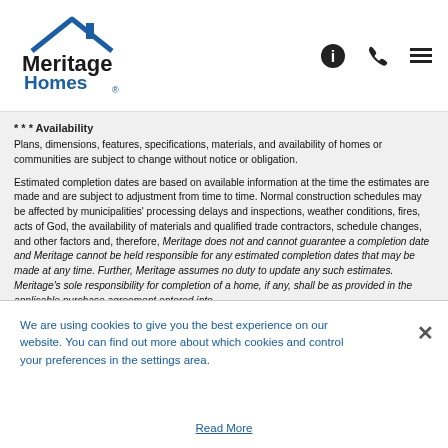[Figure (logo): Meritage Homes logo with house roof graphic, dark blue text]
* * * Availability
Plans, dimensions, features, specifications, materials, and availability of homes or communities are subject to change without notice or obligation.
Estimated completion dates are based on available information at the time the estimates are made and are subject to adjustment from time to time. Normal construction schedules may be affected by municipalities' processing delays and inspections, weather conditions, fires, acts of God, the availability of materials and qualified trade contractors, schedule changes, and other factors and, therefore, Meritage does not and cannot guarantee a completion date and Meritage cannot be held responsible for any estimated completion dates that may be made at any time. Further, Meritage assumes no duty to update any such estimates. Meritage's sole responsibility for completion of a home, if any, shall be as provided in the applicable purchase agreement entered into
We are using cookies to give you the best experience on our website. You can find out more about which cookies and control your preferences in the settings area.
Read More